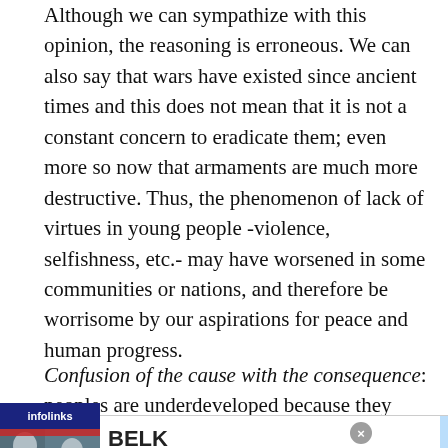Although we can sympathize with this opinion, the reasoning is erroneous. We can also say that wars have existed since ancient times and this does not mean that it is not a constant concern to eradicate them; even more so now that armaments are much more destructive. Thus, the phenomenon of lack of virtues in young people -violence, selfishness, etc.- may have worsened in some communities or nations, and therefore be worrisome by our aspirations for peace and human progress.
Confusion of the cause with the consequence: peoples are underdeveloped because they have bad
[Figure (screenshot): Infolinks advertisement banner with BELK brand ad showing 'Denim all day. www.belk.com' with a fashion image and blue circular arrow button]